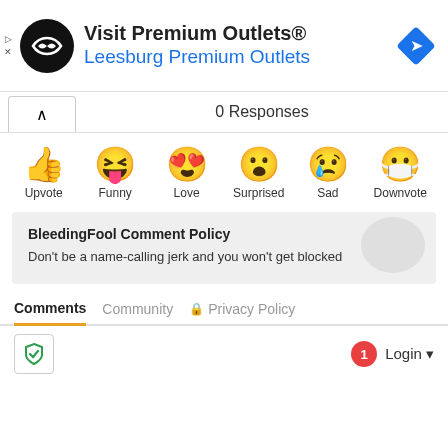[Figure (infographic): Advertisement banner for Visit Premium Outlets® / Leesburg Premium Outlets with logo and navigation icon]
0 Responses
[Figure (infographic): Row of six reaction emoji icons: Upvote (thumbs up), Funny (laughing face), Love (heart eyes), Surprised (open mouth), Sad (crying), Downvote (mask face) with labels below]
BleedingFool Comment Policy
Don't be a name-calling jerk and you won't get blocked
Comments   Community   Privacy Policy
[Figure (infographic): Bottom bar with shield icon button on left and notification badge with Login button on right]